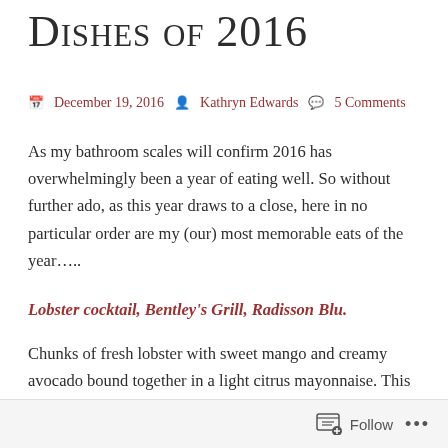Dishes of 2016
December 19, 2016  Kathryn Edwards  5 Comments
As my bathroom scales will confirm 2016 has overwhelmingly been a year of eating well. So without further ado, as this year draws to a close, here in no particular order are my (our) most memorable eats of the year…..
Lobster cocktail, Bentley's Grill, Radisson Blu.
Chunks of fresh lobster with sweet mango and creamy avocado bound together in a light citrus mayonnaise. This recent addition to the menu is an absolute winner.
Follow ...